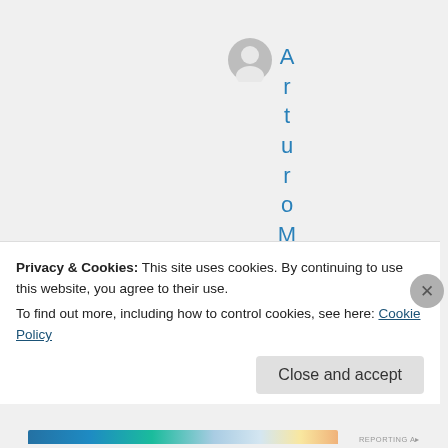[Figure (illustration): User avatar icon (grey circle with silhouette) and vertically stacked letters spelling 'ArturoMoran' in blue, one character per line]
Privacy & Cookies: This site uses cookies. By continuing to use this website, you agree to their use.
To find out more, including how to control cookies, see here: Cookie Policy
Close and accept